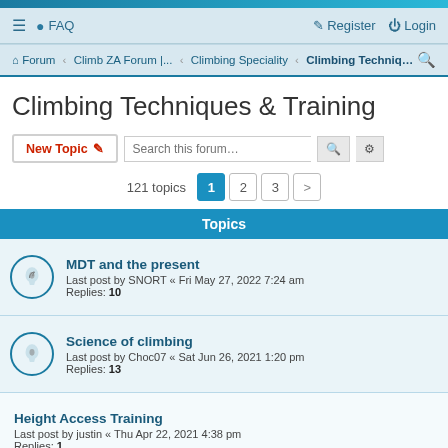Forum · Climb ZA Forum |... · Climbing Speciality · Climbing Techniq...
Climbing Techniques & Training
121 topics  1  2  3  >
Topics
MDT and the present
Last post by SNORT « Fri May 27, 2022 7:24 am
Replies: 10
Science of climbing
Last post by Choc07 « Sat Jun 26, 2021 1:20 pm
Replies: 13
Height Access Training
Last post by justin « Thu Apr 22, 2021 4:38 pm
Replies: 1
Emergency ascend setup: Two tiblocs on dual rope
Last post by RyanKarate « Mon Dec 07, 2020 10:58 pm
Replies: 7
Hand/finger injuries & fingerboard training